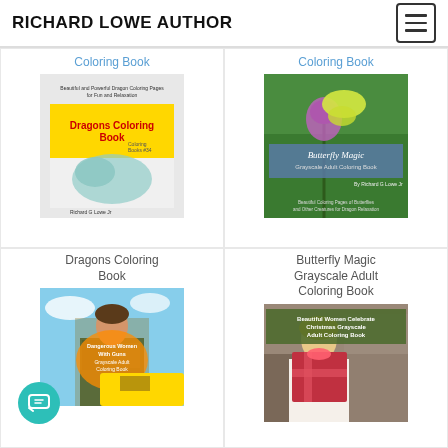RICHARD LOWE AUTHOR
Coloring Book
[Figure (photo): Book cover: Dragons Coloring Book by Richard G Lowe Jr, with dragon illustration on yellow background]
Coloring Book
[Figure (photo): Book cover: Butterfly Magic Grayscale Adult Coloring Book, featuring a yellow butterfly on purple flower]
Dragons Coloring Book
Butterfly Magic Grayscale Adult Coloring Book
[Figure (photo): Book cover: Dangerous Women With Guns Grayscale Adult Coloring Book, woman in camouflage]
[Figure (photo): Book cover: Beautiful Women Celebrate Christmas Grayscale Adult Coloring Book, woman holding wrapped gift]